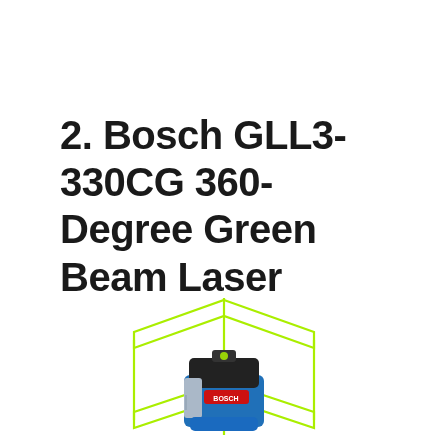2. Bosch GLL3-330CG 360-Degree Green Beam Laser
[Figure (photo): Bosch GLL3-330CG 360-Degree Green Beam Laser level device shown with bright green laser beams projecting horizontally and vertically forming a box pattern around the blue and black tool body.]